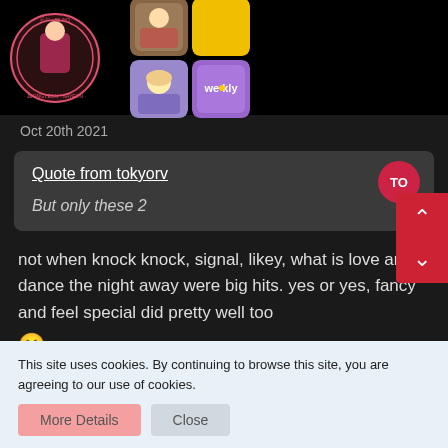[Figure (photo): K-pop themed image section with circular badge showing a person in colorful clothes with pink circular text border, and a 2x2 grid of thumbnail images including photos and a 'weekly' logo tile]
Oct 20th 2021
Quote from tokyorv
But only these 2
not when knock knock, signal, likey, what is love and dance the night away were big hits. yes or yes, fancy and feel special did pretty well too
This site uses cookies. By continuing to browse this site, you are agreeing to our use of cookies.